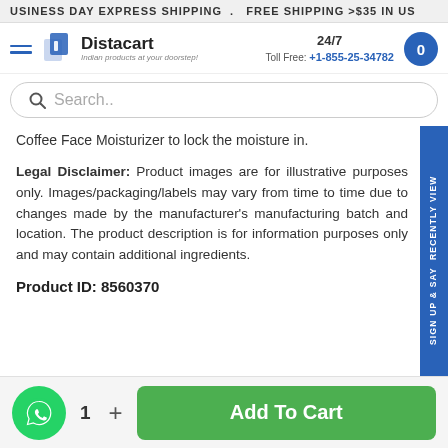BUSINESS DAY EXPRESS SHIPPING . FREE SHIPPING >$35 IN US
[Figure (logo): Distacart logo with tagline 'Indian products at your doorstep!']
24/7
Toll Free: +1-855-25-34782
Search..
Coffee Face Moisturizer to lock the moisture in.
Legal Disclaimer: Product images are for illustrative purposes only. Images/packaging/labels may vary from time to time due to changes made by the manufacturer's manufacturing batch and location. The product description is for information purposes only and may contain additional ingredients.
Product ID: 8560370
Sign up & say RECENTLY VIEWED
1  +  Add To Cart